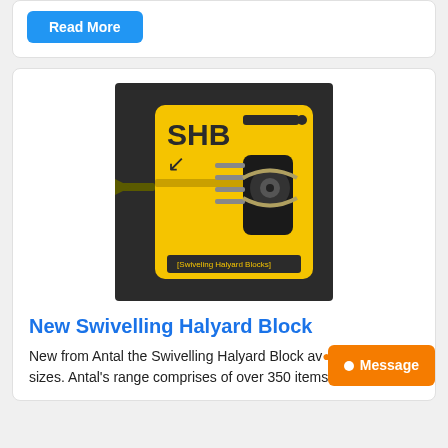Read More
[Figure (illustration): Antal SHB Swiveling Halyard Blocks product image on dark background with yellow block component graphic]
New Swivelling Halyard Block
New from Antal the Swivelling Halyard Block av... two sizes. Antal's range comprises of over 350 items of